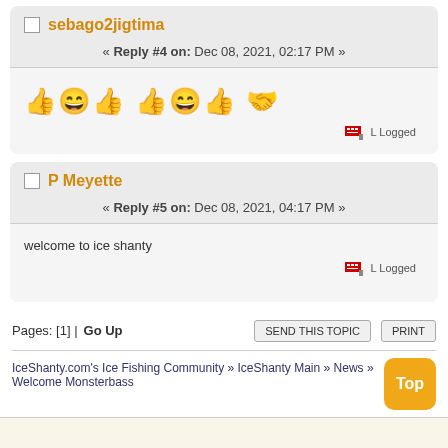sebago2jigtima
« Reply #4 on: Dec 08, 2021, 02:17 PM »
[Figure (illustration): Row of smiley face and thumbs-up emoji icons]
Logged
P Meyette
« Reply #5 on: Dec 08, 2021, 04:17 PM »
welcome to ice shanty
Logged
Pages: [1] |   Go Up
SEND THIS TOPIC   PRINT
IceShanty.com's Ice Fishing Community »  IceShanty Main »  News »  Welcome Monsterbass
Top